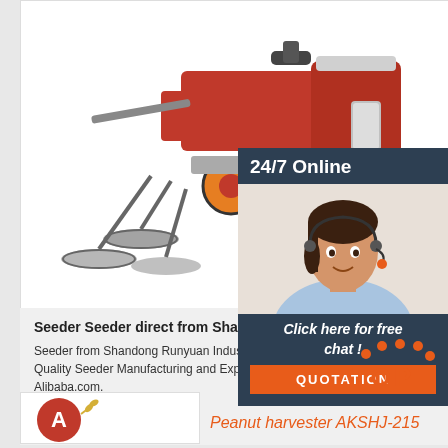[Figure (photo): Red agricultural seeder machine with disc openers and wheels on white background]
[Figure (photo): Customer service agent woman with headset smiling, with 24/7 Online label and dark background panel]
Seeder Seeder direct from Shandong Runyuan
Seeder from Shandong Runyuan Industry Co. Ltd... Quality Seeder Manufacturing and Exporting suppli... Alibaba.com.
Get Price
Click here for free chat !
QUOTATION
Peanut harvester AKSHJ-215
[Figure (logo): Company logo with letter A in red circle with wheat decoration]